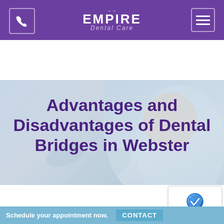Empire Dental Care
[Figure (photo): Dental patient in chair with dental professional working on her teeth, background image for hero section]
Advantages and Disadvantages of Dental Bridges in Webster
by Tehila Cohen, DMD | Jun 17, 2022 | Blog Posts
Schedule your appointment now. CONTACT